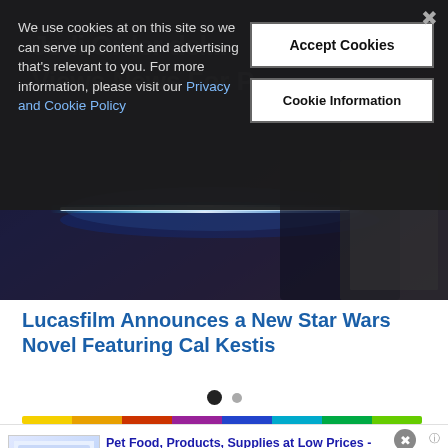[Figure (screenshot): Hero image of a Star Wars character wielding a blue lightsaber, dark cinematic background with purple and dark blue tones. Partially obscured by cookie consent overlay.]
We use cookies at on this site so we can serve up content and advertising that's relevant to you. For more information, please visit our Privacy and Cookie Policy
Accept Cookies
Cookie Information
Lucasfilm Announces a New Star Wars Novel Featuring Cal Kestis
[Figure (screenshot): Advertisement for Chewy.com: Pet Food, Products, Supplies at Low Prices. Pay the lowest prices on pet supplies at Chewy.com]